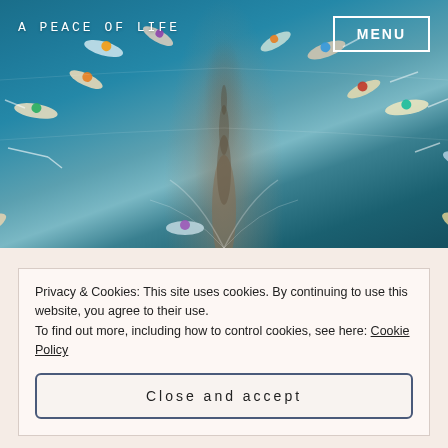[Figure (photo): Aerial view of kayakers and paddleboarders on blue-teal water, seen from above with a boat or paddleboard prow visible at the bottom center, people spread out in an arc pattern around the center wake]
A PEACE OF LIFE
MENU
Privacy & Cookies: This site uses cookies. By continuing to use this website, you agree to their use.
To find out more, including how to control cookies, see here: Cookie Policy
Close and accept